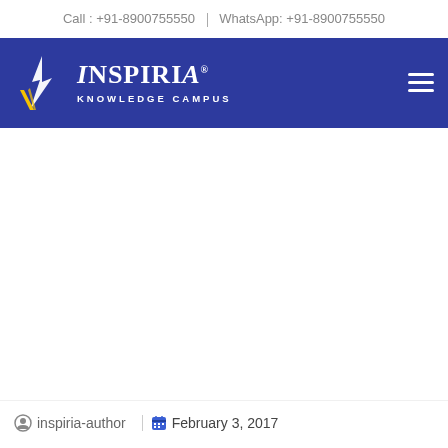Call : +91-8900755550 | WhatsApp: +91-8900755550
[Figure (logo): Inspiria Knowledge Campus logo — blue navigation bar with white flame/sail SVG icon and white text 'INSPIRIA KNOWLEDGE CAMPUS' with registered trademark symbol, plus hamburger menu icon on right]
inspiria-author | February 3, 2017